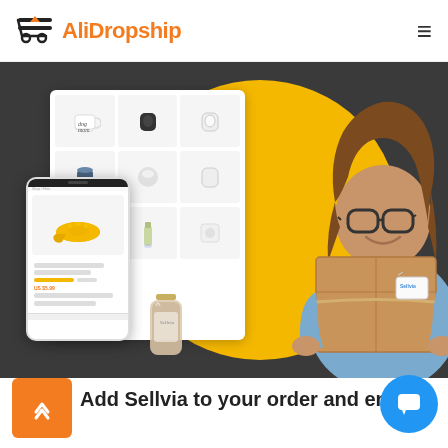AliDropship
[Figure (illustration): Hero section showing a smiling woman holding a brown package labeled Sellvia, surrounded by product listings on screen mockups and a phone mockup, with a yellow circle background, all on a dark gray background.]
Add Sellvia to your order and enjoy: